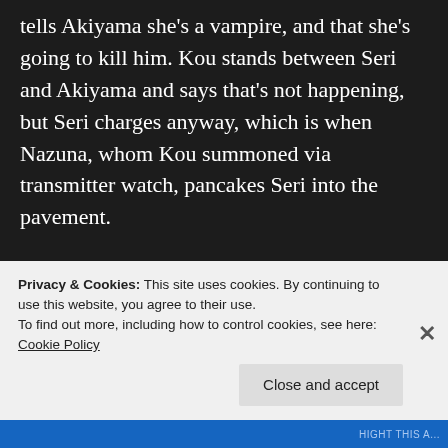tells Akiyama she's a vampire, and that she's going to kill him. Kou stands between Seri and Akiyama and says that's not happening, but Seri charges anyway, which is when Nazuna, whom Kou summoned via transmitter watch, pancakes Seri into the pavement.
[Figure (illustration): Four anime screenshot panels arranged in a 2x2 grid. Top-left: a character lying on the ground in a dark scene. Top-right: two characters sitting in red theater seats. Bottom-left: two characters in a blue bubbly underwater or dreamy scene. Bottom-right: close-up of a blonde character's face looking downward.]
Privacy & Cookies: This site uses cookies. By continuing to use this website, you agree to their use.
To find out more, including how to control cookies, see here: Cookie Policy
Close and accept